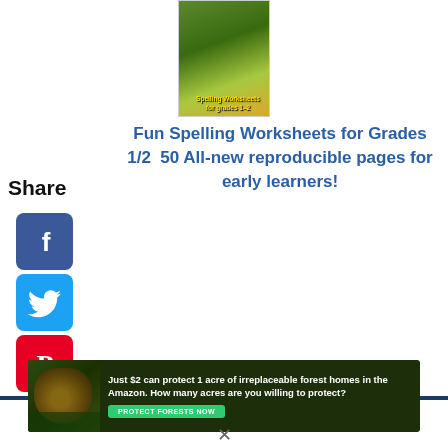[Figure (illustration): Book cover for Fun Spelling Worksheets for Grades 1-2 with orange and green nature theme, by Ann Richmond Fisher]
Fun Spelling Worksheets for Grades 1/2  50 All-new reproducible pages for early learners!
Share
[Figure (logo): Facebook share icon - blue rounded square with white F]
[Figure (logo): Twitter share icon - blue rounded square with white bird]
[Figure (logo): Pinterest share icon - red rounded square with white P]
[Figure (logo): Tumblr share icon - dark blue rounded square with white t]
[Figure (logo): Reddit share icon - orange rounded square with white alien mascot]
[Figure (logo): WhatsApp share icon - green rounded square with white phone in speech bubble]
[Figure (illustration): Advertisement banner: Just $2 can protect 1 acre of irreplaceable forest homes in the Amazon. How many acres are you willing to protect? PROTECT FORESTS NOW]